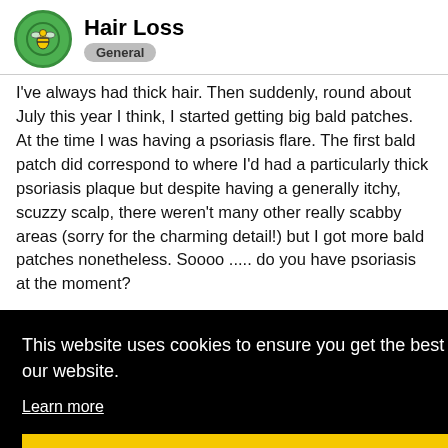Hair Loss
General
I've always had thick hair. Then suddenly, round about July this year I think, I started getting big bald patches. At the time I was having a psoriasis flare. The first bald patch did correspond to where I'd had a particularly thick psoriasis plaque but despite having a generally itchy, scuzzy scalp, there weren't many other really scabby areas (sorry for the charming detail!) but I got more bald patches nonetheless. Soooo ..... do you have psoriasis at the moment?
This website uses cookies to ensure you get the best experience on our website.
Learn more
Got it!
trigger psoriasis. So they then decidec